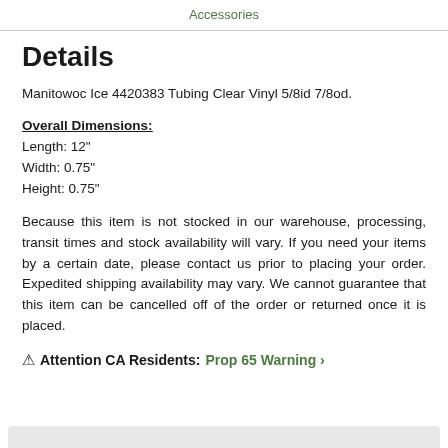Accessories
Details
Manitowoc Ice 4420383 Tubing Clear Vinyl 5/8id 7/8od.
Overall Dimensions:
Length: 12"
Width: 0.75"
Height: 0.75"
Because this item is not stocked in our warehouse, processing, transit times and stock availability will vary. If you need your items by a certain date, please contact us prior to placing your order. Expedited shipping availability may vary. We cannot guarantee that this item can be cancelled off of the order or returned once it is placed.
⚠ Attention CA Residents: Prop 65 Warning ›